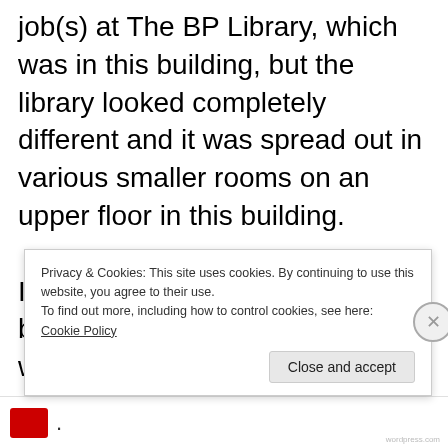job(s) at The BP Library, which was in this building, but the library looked completely different and it was spread out in various smaller rooms on an upper floor in this building.

I can not remember the details but I probably saw and talked with my supervisor Mrs. JM and maybe several other coworkers including
Privacy & Cookies: This site uses cookies. By continuing to use this website, you agree to their use.
To find out more, including how to control cookies, see here: Cookie Policy
Close and accept